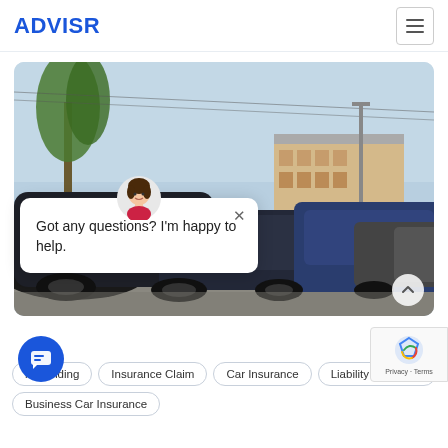ADVISR
[Figure (photo): Row of parked cars (dark sedans and a blue van) on a street with trees and a building in the background, viewed from a low angle, under a partly cloudy sky.]
Got any questions? I'm happy to help.
m Funding
Insurance Claim
Car Insurance
Liability Insurance
Business Car Insurance